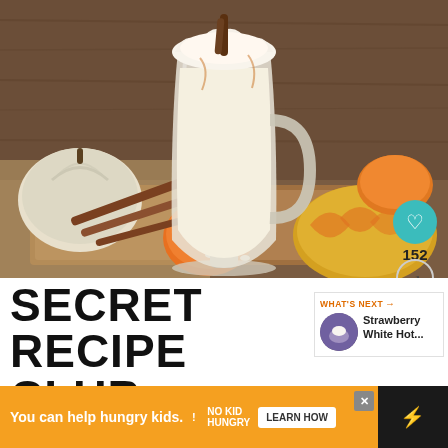[Figure (photo): A pumpkin spice latte in a clear glass mug with handle, topped with whipped cream and a cinnamon stick. Surrounded by orange and white pumpkins, cinnamon sticks, and white chocolate chips on a wooden cutting board with burlap. Dark wooden background.]
SECRET RECIPE CLUB
WHAT'S NEXT → Strawberry White Hot...
You can help hungry kids. NO KID HUNGRY LEARN HOW